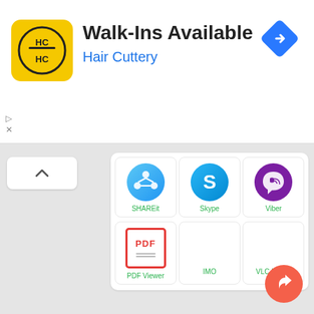[Figure (screenshot): Advertisement banner for Hair Cuttery showing HC logo, 'Walk-Ins Available' title, 'Hair Cuttery' subtitle, and a blue navigation icon]
[Figure (screenshot): App grid showing SHAREit, Skype, Viber apps in top row and PDF Viewer, IMO, VLC Player in bottom row]
[Figure (screenshot): Empty white content card at the bottom of the screen with a red share/forward FAB button in the lower right]